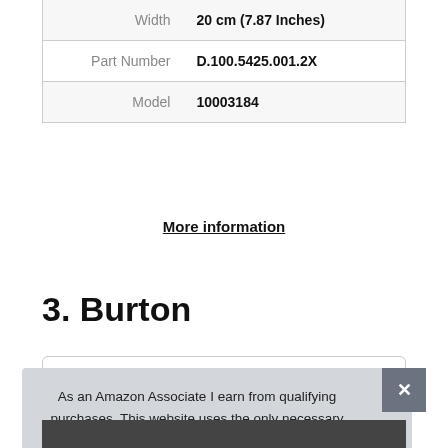| Width | 20 cm (7.87 Inches) |
| Part Number | D.100.5425.001.2X |
| Model | 10003184 |
More information
3. Burton
As an Amazon Associate I earn from qualifying purchases. This website uses the only necessary cookies to ensure you get the best experience on our website. More information